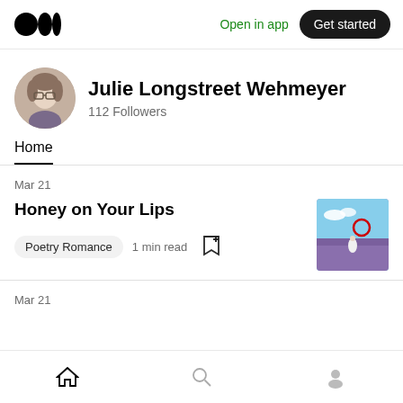Medium logo | Open in app | Get started
Julie Longstreet Wehmeyer
112 Followers
Home
Mar 21
Honey on Your Lips
Poetry Romance  1 min read
[Figure (photo): Thumbnail image of a person in a lavender field with a red circular element overhead, blue sky]
Mar 21
Bottom navigation: Home, Search, Profile